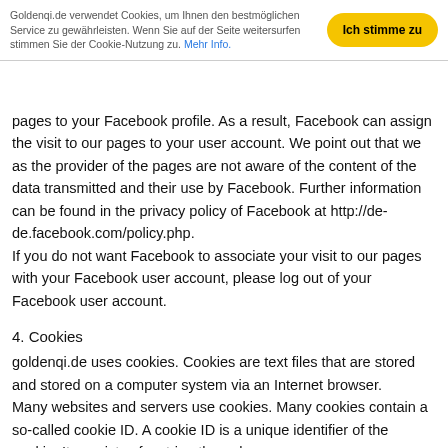Goldenqi.de verwendet Cookies, um Ihnen den bestmöglichen Service zu gewährleisten. Wenn Sie auf der Seite weitersurfen stimmen Sie der Cookie-Nutzung zu. Mehr Info.
pages to your Facebook profile. As a result, Facebook can assign the visit to our pages to your user account. We point out that we as the provider of the pages are not aware of the content of the data transmitted and their use by Facebook. Further information can be found in the privacy policy of Facebook at http://de-de.facebook.com/policy.php.
If you do not want Facebook to associate your visit to our pages with your Facebook user account, please log out of your Facebook user account.
4. Cookies
goldenqi.de uses cookies. Cookies are text files that are stored and stored on a computer system via an Internet browser.
Many websites and servers use cookies. Many cookies contain a so-called cookie ID. A cookie ID is a unique identifier of the cookie. It consists of a string through